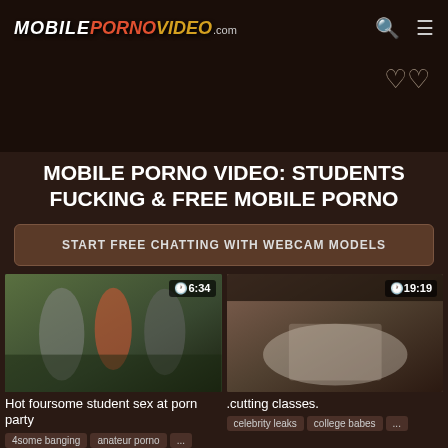MOBILEPORNOVIDEO.com
MOBILE PORNO VIDEO: STUDENTS FUCKING & FREE MOBILE PORNO
START FREE CHATTING WITH WEBCAM MODELS
[Figure (photo): Video thumbnail: outdoor group scene, duration badge 6:34]
Hot foursome student sex at porn party
4some banging   anateur porno   ...
[Figure (photo): Video thumbnail: indoor scene, duration badge 19:19]
.cutting classes.
celebrity leaks   college babes   ...